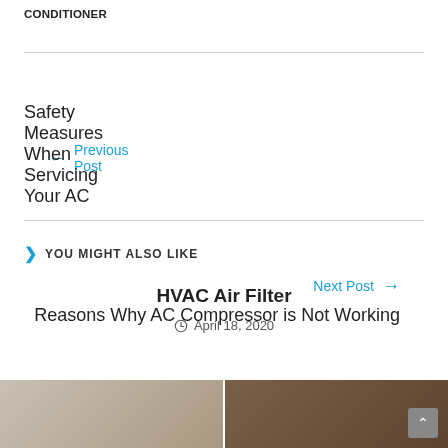CONDITIONER
← Previous Post
Safety Measures When Servicing Your AC
Next Post →
Reasons Why AC Compressor is Not Working
> YOU MIGHT ALSO LIKE
HVAC Air Filter
April 18, 2020
[Figure (photo): Two side-by-side photos partially visible at bottom of page]